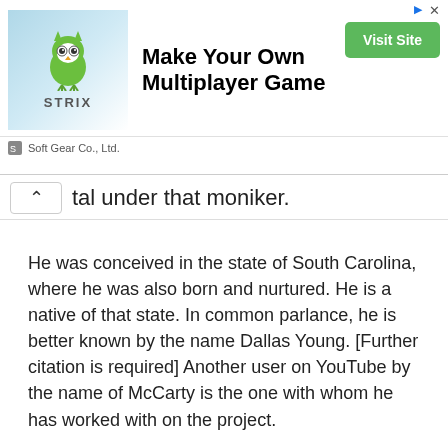[Figure (screenshot): Advertisement banner for STRIX game by Soft Gear Co., Ltd. with owl logo, headline 'Make Your Own Multiplayer Game', and a green 'Visit Site' button.]
tal under that moniker.
He was conceived in the state of South Carolina, where he was also born and nurtured. He is a native of that state. In common parlance, he is better known by the name Dallas Young. [Further citation is required] Another user on YouTube by the name of McCarty is the one with whom he has worked with on the project.
His playthrough and montage videos for a